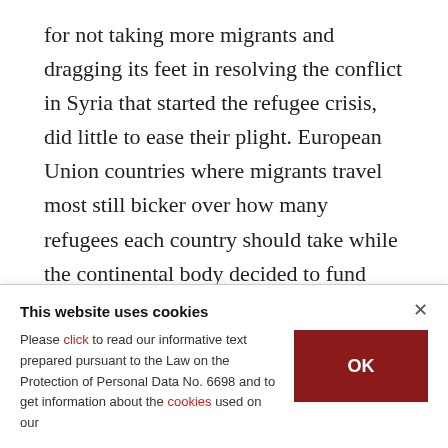for not taking more migrants and dragging its feet in resolving the conflict in Syria that started the refugee crisis, did little to ease their plight. European Union countries where migrants travel most still bicker over how many refugees each country should take while the continental body decided to fund Turkey to help migrants instead of taking them in.
Meysam Waziri is luckier than Ali Alsaho who
This website uses cookies
Please click to read our informative text prepared pursuant to the Law on the Protection of Personal Data No. 6698 and to get information about the cookies used on our